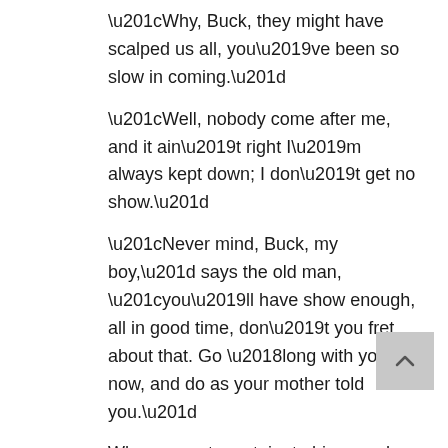“Why, Buck, they might have scalped us all, you’ve been so slow in coming.”
“Well, nobody come after me, and it ain’t right I’m always kept down; I don’t get no show.”
“Never mind, Buck, my boy,” says the old man, “you’ll have show enough, all in good time, don’t you fret about that. Go ‘long with you now, and do as your mother told you.”
When we got up-stairs to his room he got me a coarse shirt and a roundabout and pants of his, and I put them on. While I was at it he asked me what my name was, but before I could tell him he started to tell me about a bluejay and a young rabbit he had catched in the woods day before yesterday, and he asked me where Moses was when they put out the light; I didn’t know; I